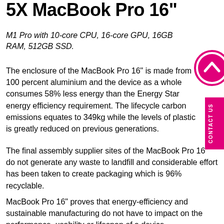5X MacBook Pro 16"
M1 Pro with 10-core CPU, 16-core GPU, 16GB RAM, 512GB SSD.
The enclosure of the MacBook Pro 16" is made from 100 percent aluminium and the device as a whole consumes 58% less energy than the Energy Star energy efficiency requirement. The lifecycle carbon emissions equates to 349kg while the levels of plastic is greatly reduced on previous generations.
The final assembly supplier sites of the MacBook Pro 16" do not generate any waste to landfill and considerable effort has been taken to create packaging which is 96% recyclable.
MacBook Pro 16" proves that energy-efficiency and sustainable manufacturing do not have to impact on the performance, usability or lifespan of a device.